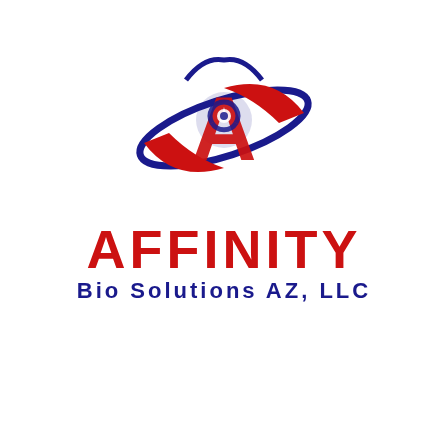[Figure (logo): Affinity Bio Solutions AZ, LLC logo — red letter A with biohazard symbol, blue orbital ring, red AFFINITY text, blue Bio Solutions AZ, LLC subtitle]
Affinty Bio Solutions LLC, All Rights Reserved 2021